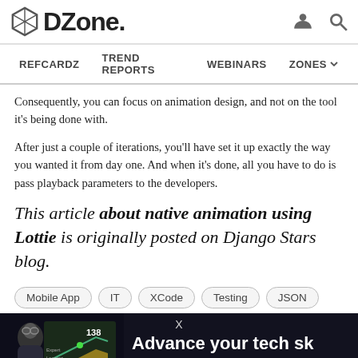DZone — REFCARDZ  TREND REPORTS  WEBINARS  ZONES
Consequently, you can focus on animation design, and not on the tool it's being done with.
After just a couple of iterations, you'll have set it up exactly the way you wanted it from day one. And when it's done, all you have to do is pass playback parameters to the developers.
This article about native animation using Lottie is originally posted on Django Stars blog.
Mobile App
IT
XCode
Testing
JSON
[Figure (screenshot): Pluralsight advertisement banner: 'Advance your tech sk...' with a photo of a person working on a monitor showing a chart with number 138, and the Pluralsight logo.]
Popular on DZone